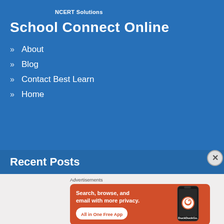NCERT Solutions
School Connect Online
About
Blog
Contact Best Learn
Home
Recent Posts
Advertisements
[Figure (illustration): DuckDuckGo advertisement banner with orange background. Text: 'Search, browse, and email with more privacy. All in One Free App'. Shows DuckDuckGo logo on a smartphone.]